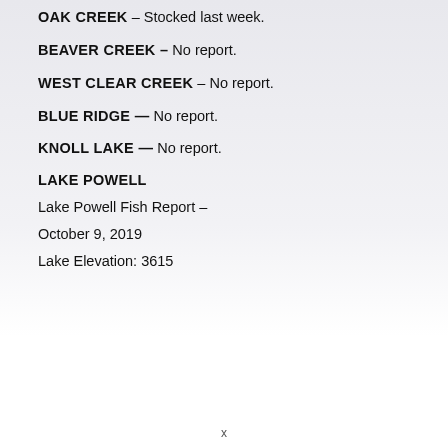OAK CREEK – Stocked last week.
BEAVER CREEK – No report.
WEST CLEAR CREEK – No report.
BLUE RIDGE — No report.
KNOLL LAKE — No report.
LAKE POWELL
Lake Powell Fish Report –
October 9, 2019
Lake Elevation: 3615
x